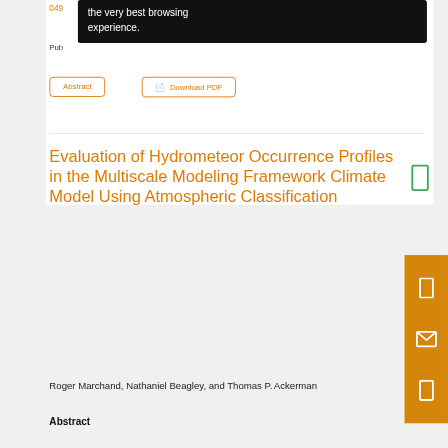the very best browsing experience.
049
Pub
Abstract
Download PDF
Evaluation of Hydrometeor Occurrence Profiles in the Multiscale Modeling Framework Climate Model Using Atmospheric Classification
Roger Marchand, Nathaniel Beagley, and Thomas P. Ackerman
Abstract